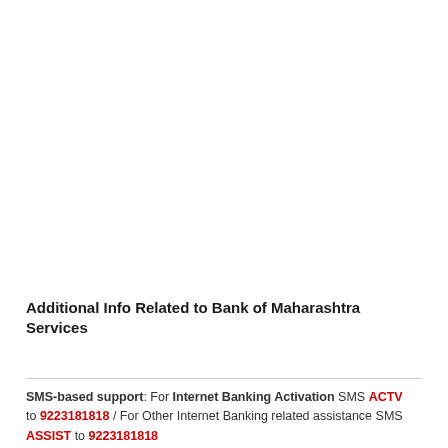Additional Info Related to Bank of Maharashtra Services
SMS-based support: For Internet Banking Activation SMS ACTV to 9223181818 / For Other Internet Banking related assistance SMS ASSIST to 9223181818